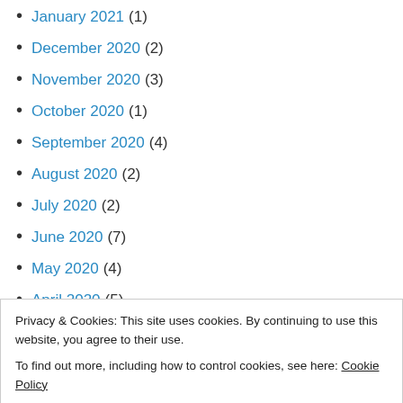January 2021 (1)
December 2020 (2)
November 2020 (3)
October 2020 (1)
September 2020 (4)
August 2020 (2)
July 2020 (2)
June 2020 (7)
May 2020 (4)
April 2020 (5)
Privacy & Cookies: This site uses cookies. By continuing to use this website, you agree to their use. To find out more, including how to control cookies, see here: Cookie Policy
October 2019 (3)